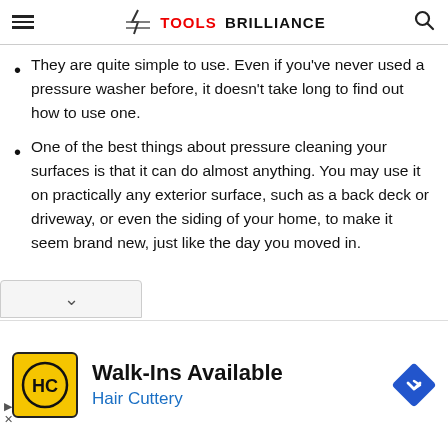Tools Brilliance
They are quite simple to use. Even if you've never used a pressure washer before, it doesn't take long to find out how to use one.
One of the best things about pressure cleaning your surfaces is that it can do almost anything. You may use it on practically any exterior surface, such as a back deck or driveway, or even the siding of your home, to make it seem brand new, just like the day you moved in.
[Figure (other): Advertisement for Hair Cuttery: Walk-Ins Available with HC logo and navigation icon]